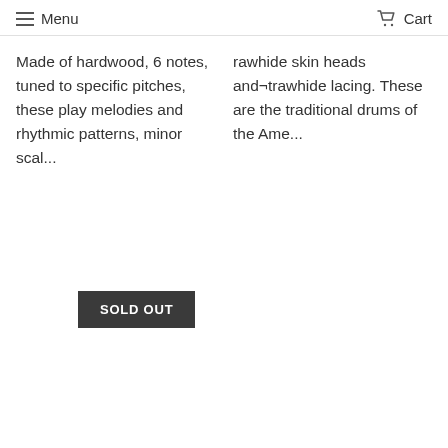≡ Menu   🛒 Cart
Made of hardwood, 6 notes, tuned to specific pitches, these play melodies and rhythmic patterns, minor scal...
rawhide skin heads and¬trawhide lacing. These are the traditional drums of the Ame...
SOLD OUT